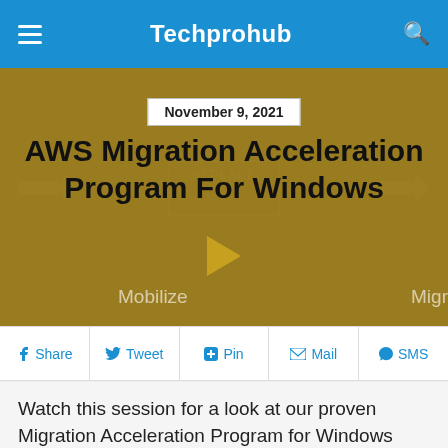Techprohub
[Figure (screenshot): Hero banner with dark gold background showing AWS Migration Acceleration Program for Windows with a play button and Mobilize/Migration labels]
AWS Migration Acceleration Program For Windows
November 9, 2021
Share  Tweet  Pin  Mail  SMS
Watch this session for a look at our proven Migration Acceleration Program for Windows (MAP) and the tools, best practices, and guidance you need to accelerate your migration to AWS. Discover the benefits of using AWS for your Windows workloads